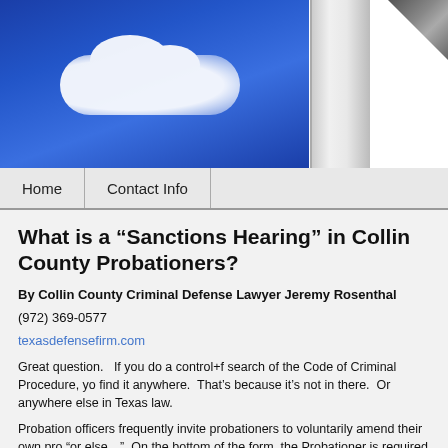[Figure (photo): Header image showing blue sky with white clouds on the left portion and a white marble pillar/column on the right, with a dark star shape in the top-right corner. Appears to be a law firm website header banner.]
Home | Contact Info
What is a “Sanctions Hearing” in Collin County Probationers?
By Collin County Criminal Defense Lawyer Jeremy Rosenthal
(972) 369-0577
texasdefensefirm.com
Great question.   If you do a control+f search of the Code of Criminal Procedure, you won’t find it anywhere.  That’s because it’s not in there.  Or anywhere else in Texas law.
Probation officers frequently invite probationers to voluntarily amend their own probation “or else…”  On the bottom of the form, the Probationer is required to either accept the sanction or face the wrath of the Judge.